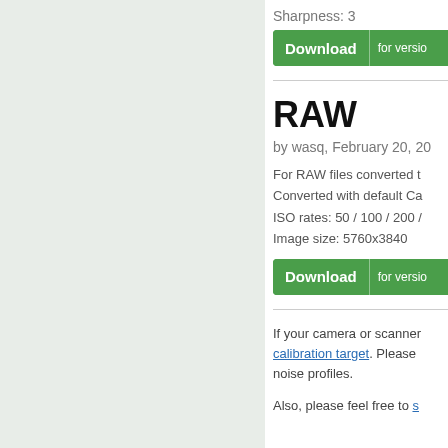Sharpness: 3
[Figure (other): Green Download button with 'for versio...' text]
RAW
by wasq, February 20, 20...
For RAW files converted t...
Converted with default Ca...
ISO rates: 50 / 100 / 200 /...
Image size: 5760x3840
[Figure (other): Green Download button with 'for versio...' text]
If your camera or scanner... calibration target. Please ... noise profiles.
Also, please feel free to s...